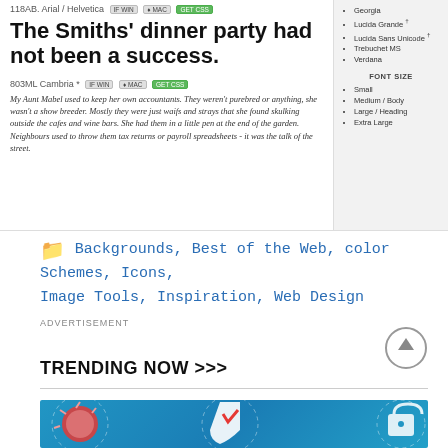118AB. Arial / Helvetica
The Smiths' dinner party had not been a success.
803ML Cambria *
My Aunt Mabel used to keep her own accountants. They weren't purebred or anything, she wasn't a show breeder. Mostly they were just waifs and strays that she found skulking outside the cafes and wine bars. She had them in a little pen at the end of the garden. Neighbours used to throw them tax returns or payroll spreadsheets - it was the talk of the street.
Georgia
Lucida Grande †
Lucida Sans Unicode †
Trebuchet MS
Verdana
FONT SIZE
Small
Medium / Body
Large / Heading
Extra Large
Backgrounds, Best of the Web, color Schemes, Icons, Image Tools, Inspiration, Web Design
ADVERTISEMENT
TRENDING NOW >>>
[Figure (illustration): Colorful banner illustration with lightbulb, shield with lightning bolt, and lock icons on teal/blue background]